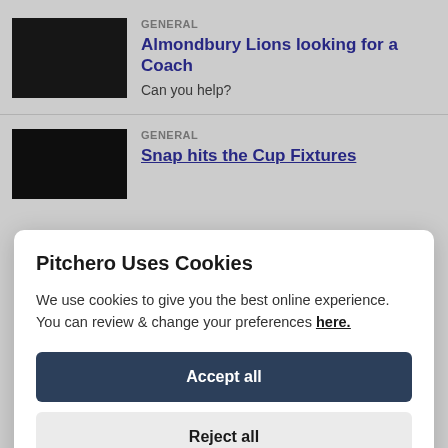GENERAL
Almondbury Lions looking for a Coach
Can you help?
GENERAL
Snap hits the Cup Fixtures
Pitchero Uses Cookies
We use cookies to give you the best online experience. You can review & change your preferences here.
Accept all
Reject all